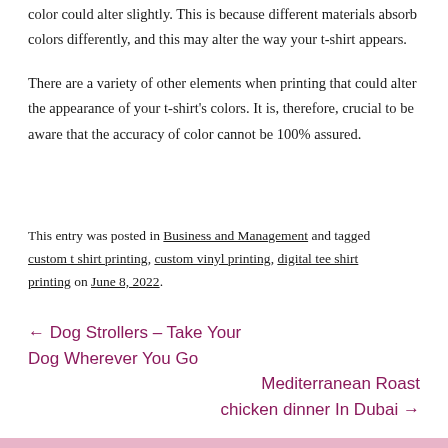color could alter slightly. This is because different materials absorb colors differently, and this may alter the way your t-shirt appears.
There are a variety of other elements when printing that could alter the appearance of your t-shirt's colors. It is, therefore, crucial to be aware that the accuracy of color cannot be 100% assured.
This entry was posted in Business and Management and tagged custom t shirt printing, custom vinyl printing, digital tee shirt printing on June 8, 2022.
← Dog Strollers – Take Your Dog Wherever You Go
Mediterranean Roast chicken dinner In Dubai →